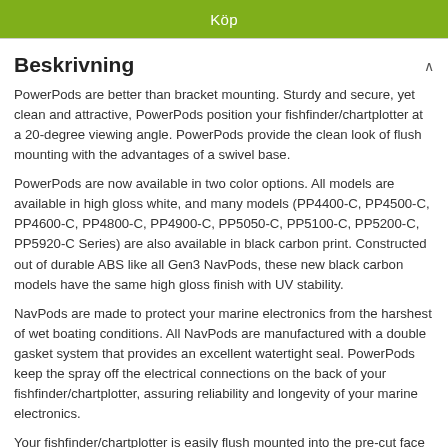Köp
Beskrivning
PowerPods are better than bracket mounting. Sturdy and secure, yet clean and attractive, PowerPods position your fishfinder/chartplotter at a 20-degree viewing angle. PowerPods provide the clean look of flush mounting with the advantages of a swivel base.
PowerPods are now available in two color options. All models are available in high gloss white, and many models (PP4400-C, PP4500-C, PP4600-C, PP4800-C, PP4900-C, PP5050-C, PP5100-C, PP5200-C, PP5920-C Series) are also available in black carbon print. Constructed out of durable ABS like all Gen3 NavPods, these new black carbon models have the same high gloss finish with UV stability.
NavPods are made to protect your marine electronics from the harshest of wet boating conditions. All NavPods are manufactured with a double gasket system that provides an excellent watertight seal. PowerPods keep the spray off the electrical connections on the back of your fishfinder/chartplotter, assuring reliability and longevity of your marine electronics.
Your fishfinder/chartplotter is easily flush mounted into the pre-cut face